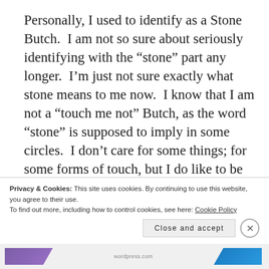Personally, I used to identify as a Stone Butch.  I am not so sure about seriously identifying with the “stone” part any longer.  I’m just not sure exactly what stone means to me now.  I know that I am not a “touch me not” Butch, as the word “stone” is supposed to imply in some circles.  I don’t care for some things; for some forms of touch, but I do like to be loved on
Privacy & Cookies: This site uses cookies. By continuing to use this website, you agree to their use.
To find out more, including how to control cookies, see here: Cookie Policy